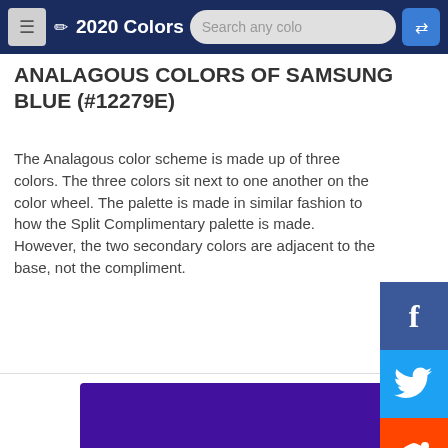2020 Colors — Search any color
ANALAGOUS COLORS OF SAMSUNG BLUE (#12279E)
The Analagous color scheme is made up of three colors. The three colors sit next to one another on the color wheel. The palette is made in similar fashion to how the Split Complimentary palette is made. However, the two secondary colors are adjacent to the base, not the compliment.
[Figure (other): Color swatch bar in deep purple/violet color #42119E]
#42119E